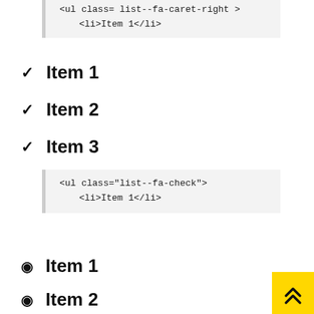[Figure (screenshot): Code block showing: <ul class= list--fa-caret-right >  <li>Item 1</li>]
✔ Item 1
✔ Item 2
✔ Item 3
[Figure (screenshot): Code block showing: <ul class="list--fa-check">  <li>Item 1</li>]
⊙ Item 1
⊙ Item 2